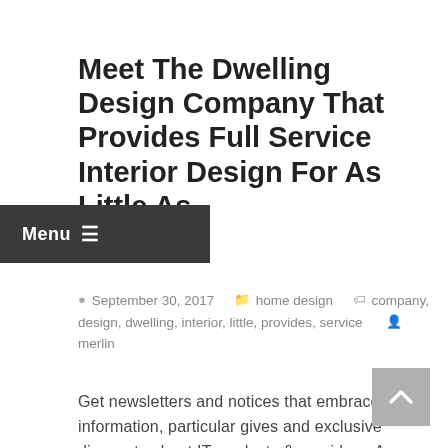Meet The Dwelling Design Company That Provides Full Service Interior Design For As Little As
September 30, 2017   home design   company, design, dwelling, interior, little, provides, service   merlin
Get newsletters and notices that embrace site information, particular gives and exclusive discounts about IT products & providers. As soon as your design is full, you can share it easily either by just sending someone a hyperlink, exporting it as a PDF or PNG, or inserting it into